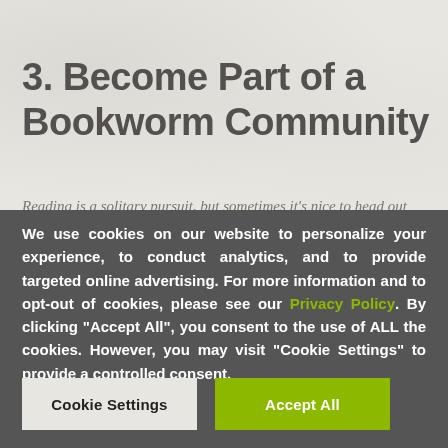3. Become Part of a Bookworm Community
Reading is a solitary pursuit, but sometimes it's nice to head out
We use cookies on our website to personalize your experience, to conduct analytics, and to provide targeted online advertising. For more information and to opt-out of cookies, please see our Privacy Policy. By clicking "Accept All", you consent to the use of ALL the cookies. However, you may visit "Cookie Settings" to provide a controlled consent.
Cookie Settings
Accept All